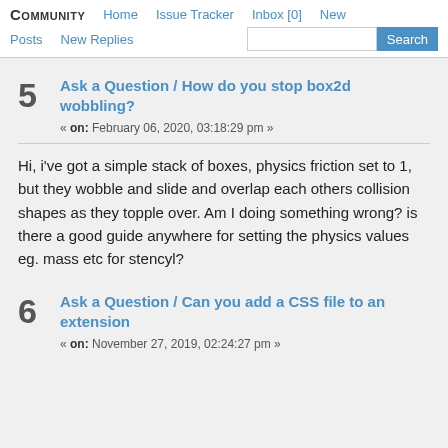Community  Home  Issue Tracker  Inbox [0]  New  Posts  New Replies  [Search]
5  Ask a Question / How do you stop box2d wobbling?
« on: February 06, 2020, 03:18:29 pm »
Hi, i've got a simple stack of boxes, physics friction set to 1, but they wobble and slide and overlap each others collision shapes as they topple over. Am I doing something wrong? is there a good guide anywhere for setting the physics values eg. mass etc for stencyl?
6  Ask a Question / Can you add a CSS file to an extension
« on: November 27, 2019, 02:24:27 pm »